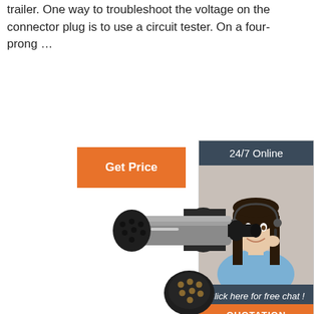trailer. One way to troubleshoot the voltage on the connector plug is to use a circuit tester. On a four-prong …
[Figure (other): Orange 'Get Price' button]
[Figure (other): Sidebar with '24/7 Online' header, customer service representative photo wearing headset, 'Click here for free chat!' text, and orange 'QUOTATION' button]
[Figure (photo): Trailer connector plug - a cylindrical metal and black plastic 7-pin trailer plug connector, shown with a separate small round 7-pin socket component below it]